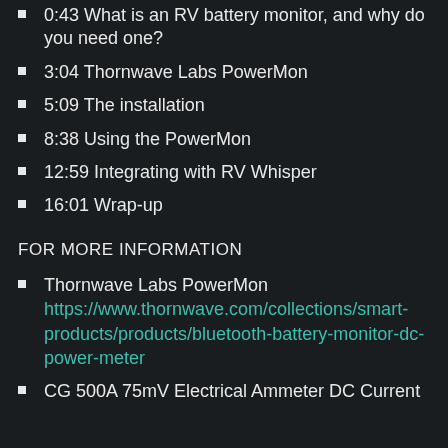0:43 What is an RV battery monitor, and why do you need one?
3:04 Thornwave Labs PowerMon
5:09 The installation
8:38 Using the PowerMon
12:59 Integrating with RV Whisper
16:01 Wrap-up
FOR MORE INFORMATION
Thornwave Labs PowerMon https://www.thornwave.com/collections/smart-products/products/bluetooth-battery-monitor-dc-power-meter
CG 500A 75mV Electrical Ammeter DC Current